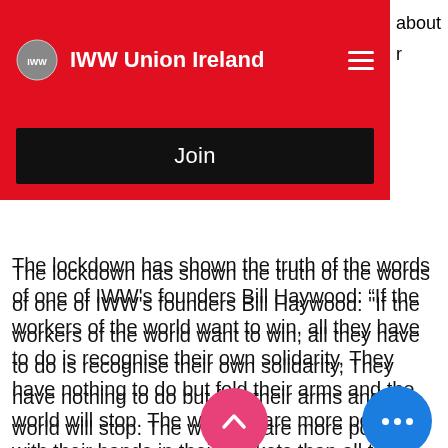IWW Union Ireland
Join
The lockdown has shown the truth of the words of one of IWW's founders Bill Haywood: “If the workers of the world want to win, all they have to do is recognise their own solidarity, They have nothing to do but fold their arms and the world will stop. The workers are more powerful with their hands in their pockets than all the property of the capitalists”.
While continuing to demonstrate mutual aid and class solidarity during these times, let us also remember how the future of our lives depends on...